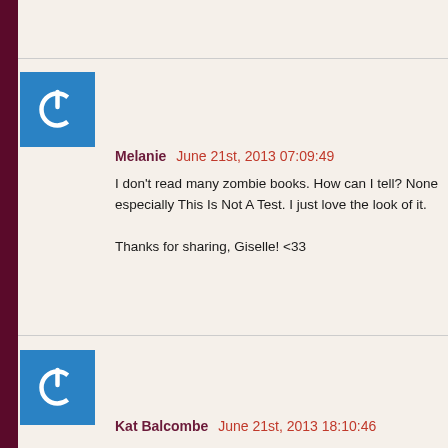[Figure (other): User avatar icon — blue square with white power button symbol]
Melanie June 21st, 2013 07:09:49
I don't read many zombie books. How can I tell? None especially This Is Not A Test. I just love the look of it.

Thanks for sharing, Giselle! <33
[Figure (other): User avatar icon — blue square with white power button symbol]
Kat Balcombe June 21st, 2013 18:10:46
I am so ashamed that I haven't read Last Bastion yet!